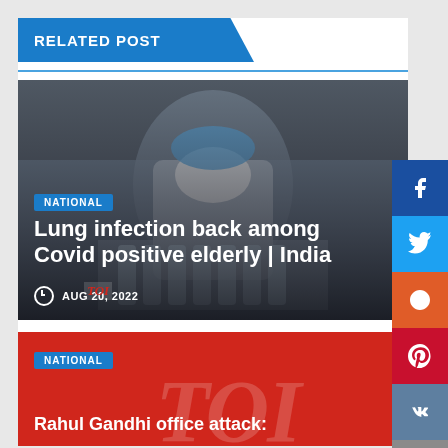RELATED POST
[Figure (photo): Healthcare worker in PPE gear (mask, gloves, hairnet) handling Covid test samples in a laboratory setting. Dark toned news article thumbnail image.]
NATIONAL
Lung infection back among Covid positive elderly | India
AUG 20, 2022
[Figure (photo): Red background news card with Times of India (TOI) watermark logo. Second related article card, partially visible.]
NATIONAL
Rahul Gandhi office attack: